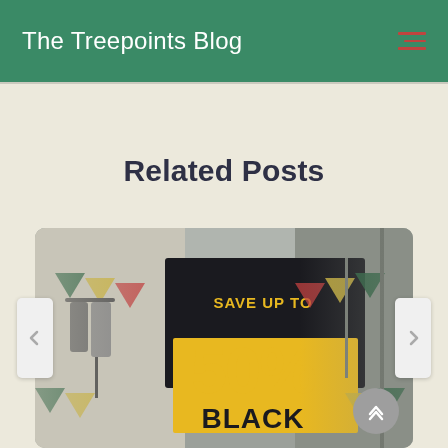The Treepoints Blog
Related Posts
[Figure (photo): A store window display with a sale sign showing 'SAVE UP TO 50% BLACK FRIDAY' in yellow and black colors, with decorative pennant flags in the background.]